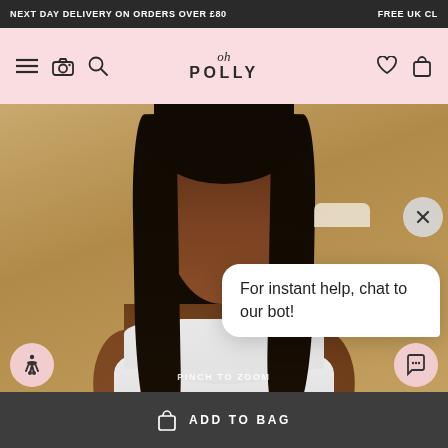NEXT DAY DELIVERY ON ORDERS OVER £80 | FREE UK CL
[Figure (screenshot): Oh Polly fashion retail website navigation bar with pink background, hamburger menu, camera, search icons on left, Oh Polly script logo in center, heart and bag icons on right]
[Figure (photo): Female model with dark skin and straight black hair wearing a sleeveless white/grey dress against a tan/beige background]
PINCH TO ZOOM
For instant help, chat to our bot!
ADD TO BAG